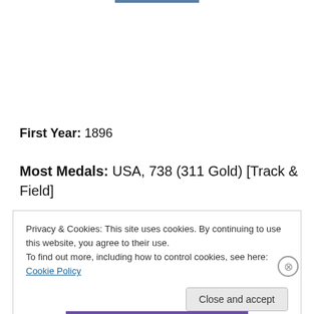First Year: 1896
Most Medals: USA, 738 (311 Gold) [Track & Field]
Privacy & Cookies: This site uses cookies. By continuing to use this website, you agree to their use.
To find out more, including how to control cookies, see here: Cookie Policy
Close and accept